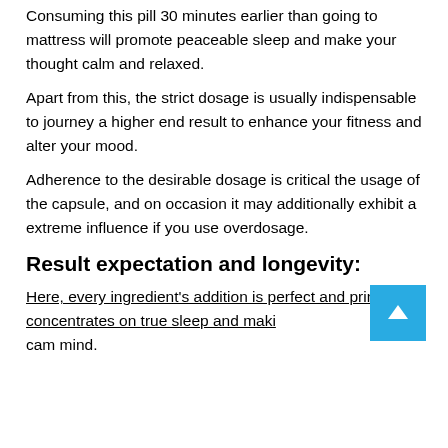Consuming this pill 30 minutes earlier than going to mattress will promote peaceable sleep and make your thought calm and relaxed.
Apart from this, the strict dosage is usually indispensable to journey a higher end result to enhance your fitness and alter your mood.
Adherence to the desirable dosage is critical the usage of the capsule, and on occasion it may additionally exhibit a extreme influence if you use overdosage.
Result expectation and longevity:
Here, every ingredient's addition is perfect and principally concentrates on true sleep and maki cam mind.